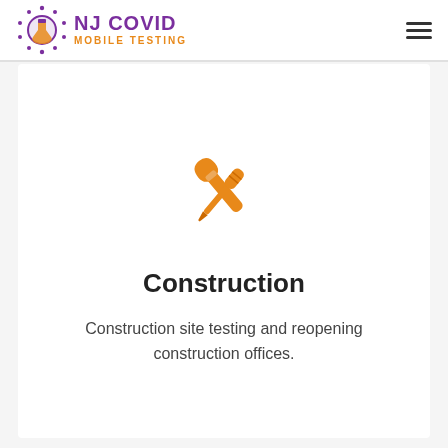[Figure (logo): NJ COVID Mobile Testing logo with purple lab flask icon and purple/orange text]
[Figure (illustration): Orange crossed screwdriver and wrench tools icon representing construction]
Construction
Construction site testing and reopening construction offices.